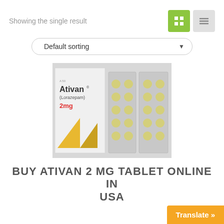Showing the single result
[Figure (screenshot): UI buttons: green grid view button and gray list view button]
[Figure (screenshot): Default sorting dropdown selector with rounded border]
[Figure (photo): Photo of Ativan (Lorazepam) 2mg tablet box with two blister packs of tablets on a white background]
BUY ATIVAN 2 MG TABLET ONLINE IN USA
Translate »